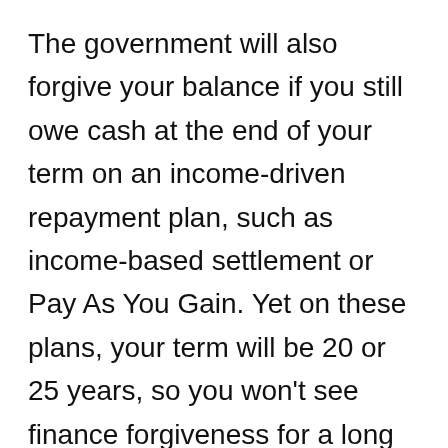The government will also forgive your balance if you still owe cash at the end of your term on an income-driven repayment plan, such as income-based settlement or Pay As You Gain. Yet on these plans, your term will be 20 or 25 years, so you won't see finance forgiveness for a long time.
As opposed to pinning your hopes on student finance forgiveness after 20 years (or more), you may be much better